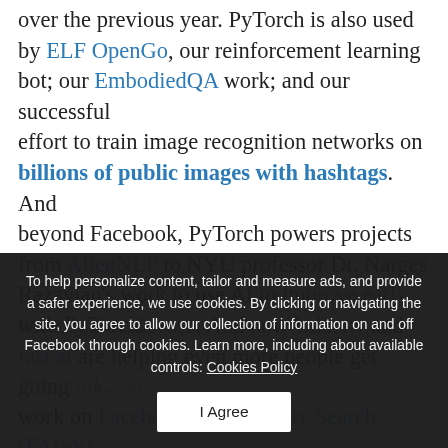over the previous year. PyTorch is also used by ELF OpenGo, our reinforcement learning bot; our EmbodiedQA work; and our successful effort to train image recognition networks on billions of public images with hashtags. And beyond Facebook, PyTorch powers projects from AllenNLP to NYU professor Dr. Narges Razavian's work to use AI to improve early detection of disease. And now Udacity and fast.ai are helping even more people get going with PyTorch.
We... (partially obscured text about taking... work on Facebook AI Similarity Search (FAISS) has accelerated large search. FAISS began as an internal search project to...
To help personalize content, tailor and measure ads, and provide a safer experience, we use cookies. By clicking or navigating the site, you agree to allow our collection of information on and off Facebook through cookies. Learn more, including about available controls: Cookies Policy
I Agree